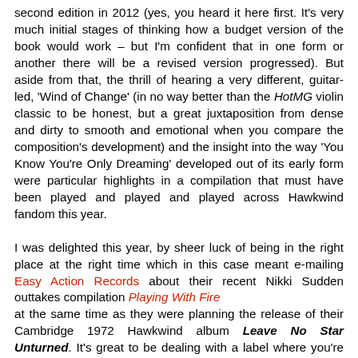second edition in 2012 (yes, you heard it here first. It's very much initial stages of thinking how a budget version of the book would work – but I'm confident that in one form or another there will be a revised version progressed). But aside from that, the thrill of hearing a very different, guitar-led, 'Wind of Change' (in no way better than the HotMG violin classic to be honest, but a great juxtaposition from dense and dirty to smooth and emotional when you compare the composition's development) and the insight into the way 'You Know You're Only Dreaming' developed out of its early form were particular highlights in a compilation that must have been played and played and played across Hawkwind fandom this year.

I was delighted this year, by sheer luck of being in the right place at the right time which in this case meant e-mailing Easy Action Records about their recent Nikki Sudden outtakes compilation Playing With Fire at the same time as they were planning the release of their Cambridge 1972 Hawkwind album Leave No Star Unturned. It's great to be dealing with a label where you're not trying to work your way through whole strata of